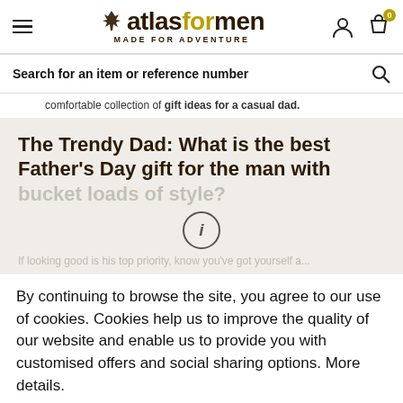atlasformen MADE FOR ADVENTURE
Search for an item or reference number
comfortable collection of gift ideas for a casual dad.
The Trendy Dad: What is the best Father's Day gift for the man with bucket loads of style?
If looking good is his top priority, know you've got yourself a...
By continuing to browse the site, you agree to our use of cookies. Cookies help us to improve the quality of our website and enable us to provide you with customised offers and social sharing options. More details.
I ACCEPT